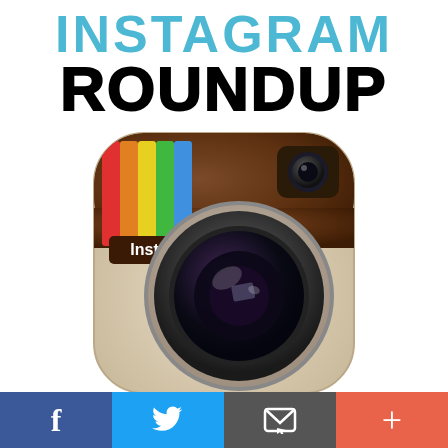INSTAGRAM
ROUNDUP
[Figure (logo): Instagram classic camera logo icon with brown leather top, rainbow color stripes, cream/beige lower body, large camera lens in center, small viewfinder lens in upper right corner, 'Insta' text label, rounded square shape]
[Figure (infographic): Social share bar with four buttons: Facebook (blue, f), Twitter (light blue, bird), Email (dark gray, envelope icon), More/Plus (coral red, + sign)]